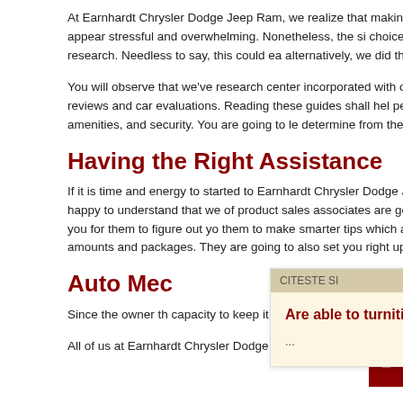At Earnhardt Chrysler Dodge Jeep Ram, we realize that making the concluding wish to take home can appear stressful and overwhelming. Nonetheless, the simple choice is through conducting thorough research. Needless to say, this could ea alternatively, we did the ongoing do the job.
You will observe that we've research center incorporated with our shopping too guides like vehicle reviews and car evaluations. Reading these guides shall hel performance, interior design, room, amenities, and security. You are going to le determine from the automobiles that basically interest you.
Having the Right Assistance
If it is time and energy to started to Earnhardt Chrysler Dodge Jeep Ram to sta vehicle, you'll be very happy to understand that we of product sales associates are going to take time to get to know actually you for them to figure out yo them to make smarter tips which are more relevant to you being a motoris amounts and packages. They are going to also set you right up by having automobile your self.
Auto Mec
Since the owner th capacity to keep it would be pleased looking for solution in Gilbert, AZ.
All of us at Earnhardt Chrysler Dodge Jeep Ram is very happy to assist motoris
[Figure (screenshot): Popup overlay with header 'CITESTE SI' and a link text 'Are able to turnitin discover articles bought world wide' followed by '...']
[Figure (other): Feedback tab on the right side of the page, vertical text reading 'Feedback']